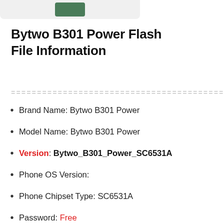[Figure (photo): Partial product image at top of page, cropped, showing rounded rectangle frame with green object inside]
Bytwo B301 Power Flash File Information
============================================================
Brand Name: Bytwo B301 Power
Model Name: Bytwo B301 Power
Version: Bytwo_B301_Power_SC6531A
Phone OS Version:
Phone Chipset Type: SC6531A
Password: Free